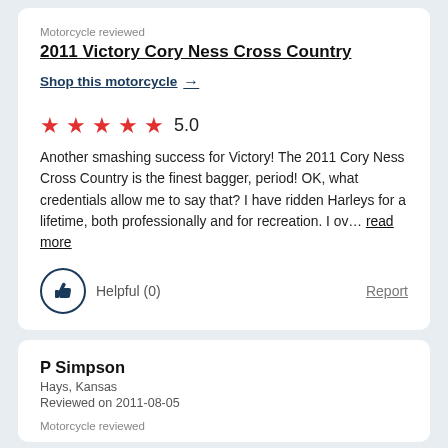Motorcycle reviewed
2011 Victory Cory Ness Cross Country
Shop this motorcycle →
★★★★★ 5.0
Another smashing success for Victory! The 2011 Cory Ness Cross Country is the finest bagger, period! OK, what credentials allow me to say that? I have ridden Harleys for a lifetime, both professionally and for recreation. I ov… read more
Helpful (0)
Report
P Simpson
Hays, Kansas
Reviewed on 2011-08-05
Motorcycle reviewed